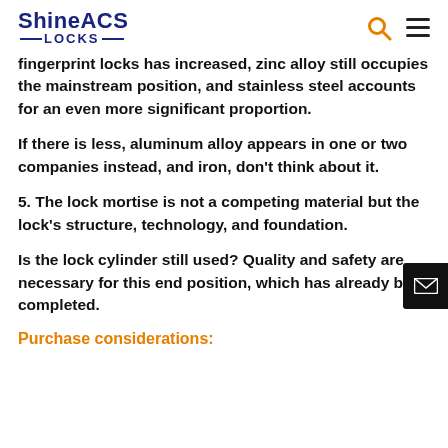ShineACS LOCKS
fingerprint locks has increased, zinc alloy still occupies the mainstream position, and stainless steel accounts for an even more significant proportion.
If there is less, aluminum alloy appears in one or two companies instead, and iron, don't think about it.
5. The lock mortise is not a competing material but the lock’s structure, technology, and foundation.
Is the lock cylinder still used? Quality and safety are necessary for this end position, which has already been completed.
Purchase considerations: